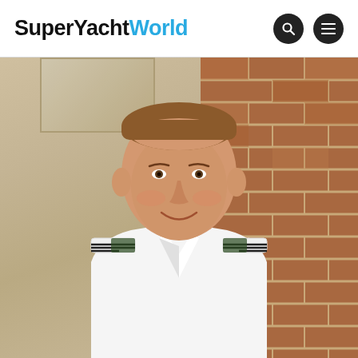SuperYachtWorld
[Figure (photo): Portrait photograph of a man with short hair, smiling, wearing a white naval/captain's uniform with epaulettes showing rank stripes. He is standing in front of a stone and brick wall background.]